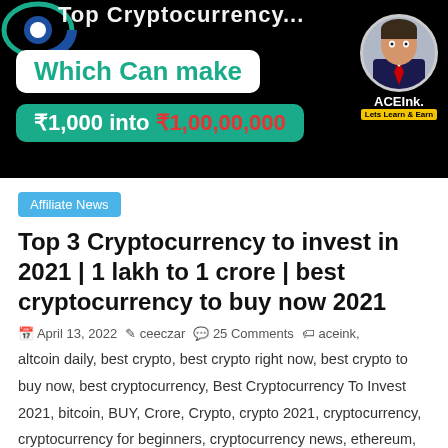[Figure (screenshot): Thumbnail image for a cryptocurrency YouTube video on black background. Shows text 'Which Can make' in white rounded box with teal text, and '₹1,000 into ₹1,00,00,000' in teal box. ACEink logo with avatar on right.]
Affiliate News
Top 3 Cryptocurrency to invest in 2021 | 1 lakh to 1 crore | best cryptocurrency to buy now 2021
April 13, 2022   ceeczar   25 Comments   aceink,
altcoin daily, best crypto, best crypto right now, best crypto to buy now, best cryptocurrency, Best Cryptocurrency To Invest 2021, bitcoin, BUY, Crore, Crypto, crypto 2021, cryptocurrency, cryptocurrency for beginners, cryptocurrency news, ethereum, how to invest, invest, Lakh, top, top 5 altcoins 2021, top altcoins, top